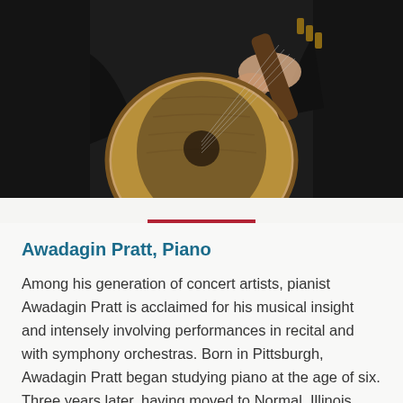[Figure (photo): A person in dark clothing holding a round-bodied stringed instrument (lute or oud) against a dark background. The instrument's resonator body is prominently visible.]
Awadagin Pratt, Piano
Among his generation of concert artists, pianist Awadagin Pratt is acclaimed for his musical insight and intensely involving performances in recital and with symphony orchestras. Born in Pittsburgh, Awadagin Pratt began studying piano at the age of six. Three years later, having moved to Normal, Illinois with his family, he also began studying violin. At the ag… the University of Illinois…